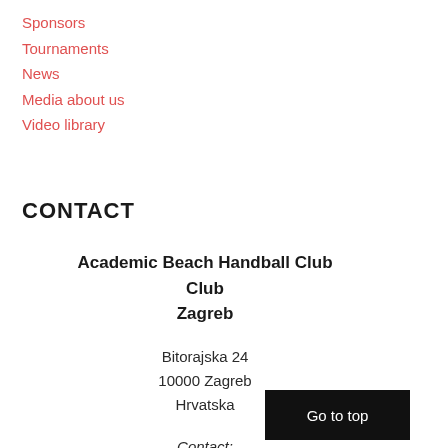Sponsors
Tournaments
News
Media about us
Video library
CONTACT
Academic Beach Handball Club
Zagreb
Bitorajska 24
10000 Zagreb
Hrvatska
Contact:
Mladen Paradžik
GSM:
+385 95 8136 286
e-mail:
info@bhc-zagreb.com
[Figure (other): Go to top button — black rectangle with white text 'Go to top']